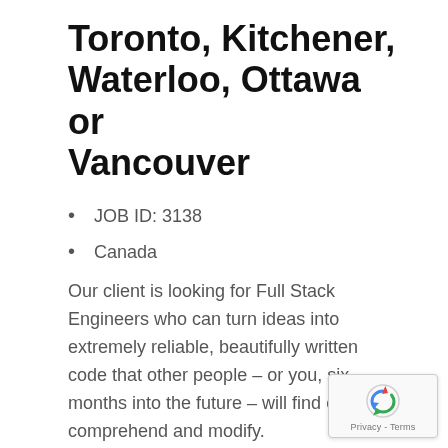Toronto, Kitchener, Waterloo, Ottawa or Vancouver
JOB ID: 3138
Canada
Our client is looking for Full Stack Engineers who can turn ideas into extremely reliable, beautifully written code that other people – or you, six months into the future – will find easy to comprehend and modify.
You have mastered more than one technology stack in your life, and are comfortable with the idea of most in